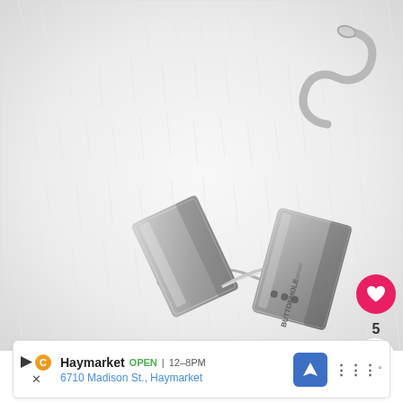[Figure (photo): Product photo showing two silver metallic garment/trouser clips (Buttonhole Company branded) with wire hooks, displayed on white fur background. One clip shows the back with branding text, the other shows front. A metal S-hook is also visible.]
5
Haymarket  OPEN  12–8PM
6710 Madison St., Haymarket